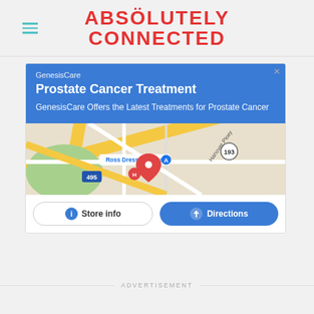ABSOLUTELY CONNECTED
[Figure (screenshot): Advertisement for GenesisCare Prostate Cancer Treatment with a Google Maps panel showing a location near Ross Dress for Less and buttons for Store info and Directions.]
ADVERTISEMENT